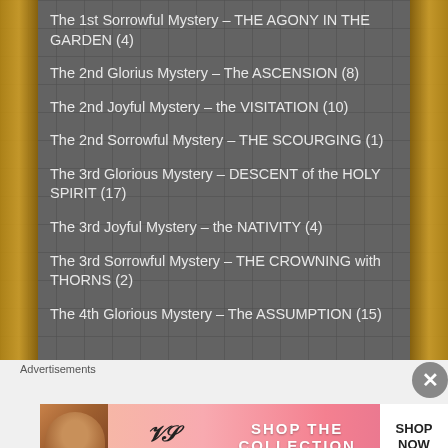The 1st Sorrowful Mystery – THE AGONY IN THE GARDEN (4)
The 2nd Glorius Mystery – The ASCENSION (8)
The 2nd Joyful Mystery – the VISITATION (10)
The 2nd Sorrowful Mystery – THE SCOURGING (1)
The 3rd Glorious Mystery – DESCENT of the HOLY SPIRIT (17)
The 3rd Joyful Mystery – the NATIVITY (4)
The 3rd Sorrowful Mystery – THE CROWNING with THORNS (2)
The 4th Glorious Mystery – The ASSUMPTION (15)
[Figure (photo): Victoria's Secret advertisement banner with model, VS logo, 'SHOP THE COLLECTION' text, and 'SHOP NOW' button]
Advertisements